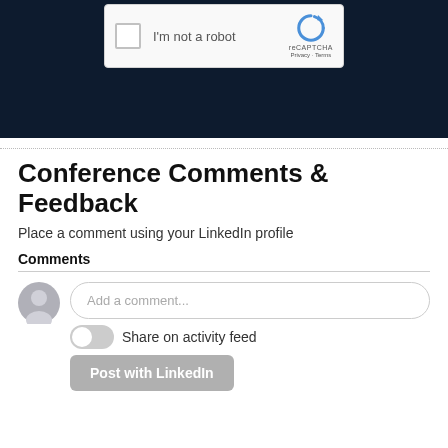[Figure (screenshot): reCAPTCHA widget showing checkbox 'I'm not a robot' on dark navy background]
Conference Comments & Feedback
Place a comment using your LinkedIn profile
Comments
[Figure (screenshot): LinkedIn comment input area with avatar, 'Add a comment...' field, 'Share on activity feed' toggle, and 'Post with LinkedIn' button]